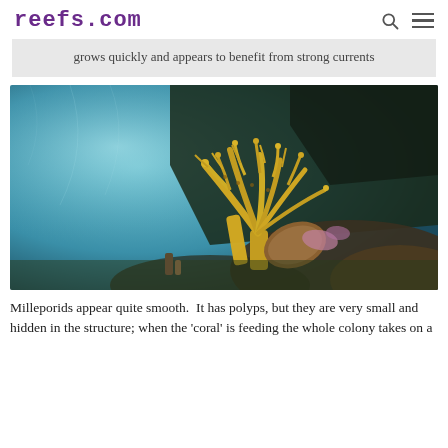reefs.com
grows quickly and appears to benefit from strong currents
[Figure (photo): Underwater photograph of yellow branching fire coral (Millepora) growing on a reef, with deep blue water and dark rocky reef wall in the background.]
Milleporids appear quite smooth.  It has polyps, but they are very small and hidden in the structure; when the 'coral' is feeding the whole colony takes on a